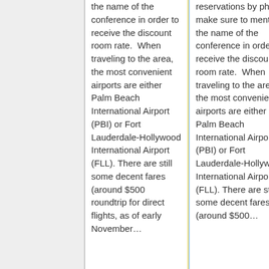the name of the conference in order to receive the discount room rate.  When traveling to the area, the most convenient airports are either Palm Beach International Airport (PBI) or Fort Lauderdale-Hollywood International Airport (FLL). There are still some decent fares (around $500 roundtrip for direct flights, as of early November)...
reservations by phone, make sure to mention the name of the conference in order to receive the discount room rate.  When traveling to the area, the most convenient airports are either Palm Beach International Airport (PBI) or Fort Lauderdale-Hollywood International Airport (FLL). There are still some decent fares (around $500...